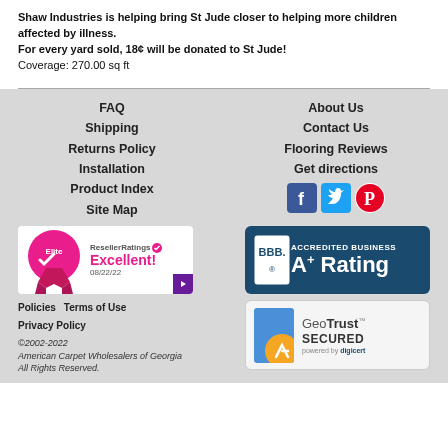Shaw Industries is helping bring St Jude closer to helping more children affected by illness.
For every yard sold, 18¢ will be donated to St Jude!
Coverage: 270.00 sq ft
FAQ
Shipping
Returns Policy
Installation
Product Index
Site Map
About Us
Contact Us
Flooring Reviews
Get directions
[Figure (logo): ResellerRatings Elite badge - Excellent! 08/22/22]
[Figure (logo): BBB Accredited Business A+ Rating badge]
Policies   Terms of Use
Privacy Policy
©2002-2022
American Carpet Wholesalers of Georgia
All Rights Reserved.
[Figure (logo): GeoTrust SECURED powered by digicert]